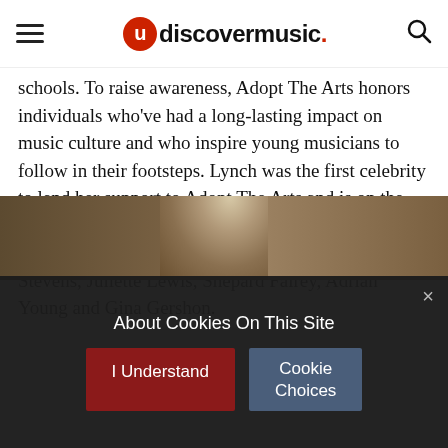udiscovermusic.
schools. To raise awareness, Adopt The Arts honors individuals who've had a long-lasting impact on music culture and who inspire young musicians to follow in their footsteps. Lynch was the first celebrity to lend her support to Adopt The Arts and is on the board of directors; the advisory board also includes Slash, John Stamos, Billy Bob Thorton, Steve Stevens, Juliette Lewis, Shepard Fairey, Adrian Young and Gina Gershon.
[Figure (photo): Partial photo of a person with light curly hair, cropped showing only top of head, dark warm-toned background]
About Cookies On This Site
I Understand
Cookie Choices